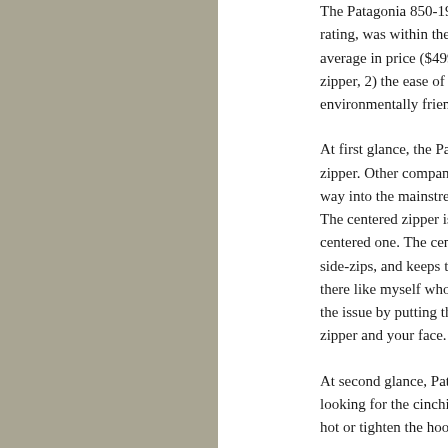[Figure (photo): A product image of a jacket or outdoor gear item with a khaki/olive-gray color background filling the left portion of the page.]
The Patagonia 850-19 me rating, was within the acc average in price ($499). T zipper, 2) the ease of hoo environmentally friendly
At first glance, the Patago zipper. Other companies b way into the mainstream. The centered zipper is aw centered one. The centere side-zips, and keeps the s there like myself who are the issue by putting the zi zipper and your face.
At second glance, Patago looking for the cinching o hot or tighten the hood be